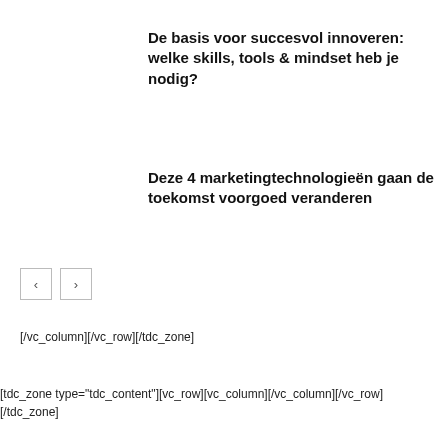De basis voor succesvol innoveren: welke skills, tools & mindset heb je nodig?
Deze 4 marketingtechnologieën gaan de toekomst voorgoed veranderen
[Figure (other): Navigation arrow buttons: left arrow and right arrow]
[/vc_column][/vc_row][/tdc_zone]
[tdc_zone type="tdc_content"][vc_row][vc_column][/vc_column][/vc_row][/tdc_zone]